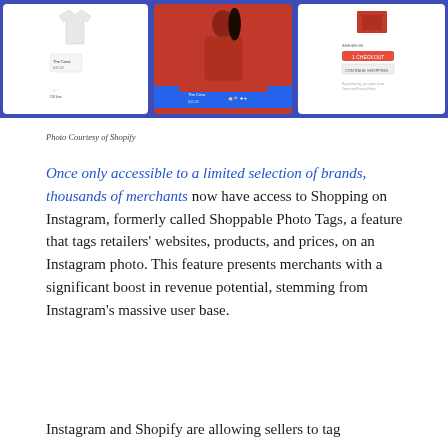[Figure (screenshot): Three mobile phone screens showing Instagram Shopping feature on a blue background. Left screen shows a white t-shirt post, middle screen shows a woman in a red top, right screen shows a product checkout page.]
Photo Courtesy of Shopify
Once only accessible to a limited selection of brands, thousands of merchants now have access to Shopping on Instagram, formerly called Shoppable Photo Tags, a feature that tags retailers' websites, products, and prices, on an Instagram photo. This feature presents merchants with a significant boost in revenue potential, stemming from Instagram's massive user base.
Instagram and Shopify are allowing sellers to tag